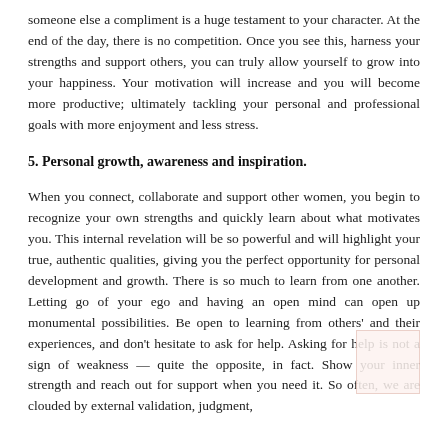someone else a compliment is a huge testament to your character. At the end of the day, there is no competition. Once you see this, harness your strengths and support others, you can truly allow yourself to grow into your happiness. Your motivation will increase and you will become more productive; ultimately tackling your personal and professional goals with more enjoyment and less stress.
5. Personal growth, awareness and inspiration.
When you connect, collaborate and support other women, you begin to recognize your own strengths and quickly learn about what motivates you. This internal revelation will be so powerful and will highlight your true, authentic qualities, giving you the perfect opportunity for personal development and growth. There is so much to learn from one another. Letting go of your ego and having an open mind can open up monumental possibilities. Be open to learning from others' and their experiences, and don't hesitate to ask for help. Asking for help is not a sign of weakness — quite the opposite, in fact. Show your inner strength and reach out for support when you need it. So often, we are clouded by external validation, judgment,